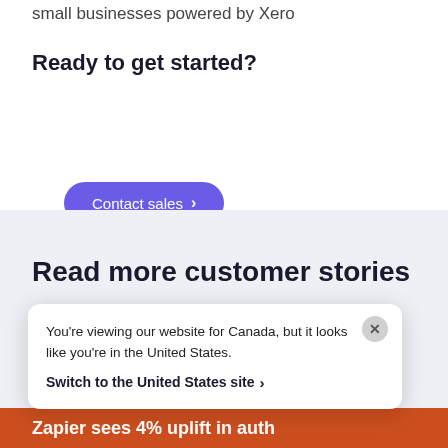small businesses powered by Xero
Ready to get started?
Contact sales ›
Read more customer stories
You're viewing our website for Canada, but it looks like you're in the United States.
Switch to the United States site ›
Zapier sees 4% uplift in auth